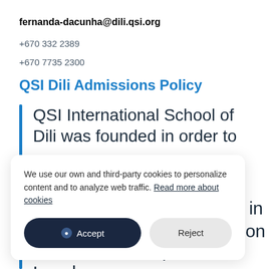fernanda-dacunha@dili.qsi.org
+670 332 2389
+670 7735 2300
QSI Dili Admissions Policy
QSI International School of Dili was founded in order to
We use our own and third-party cookies to personalize content and to analyze web traffic. Read more about cookies
standards for expatriates. Local